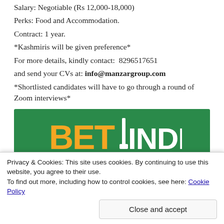Salary: Negotiable (Rs 12,000-18,000)
Perks: Food and Accommodation.
Contract: 1 year.
*Kashmiris will be given preference*
For more details, kindly contact: 8296517651
and send your CVs at: info@manzargroup.com
*Shortlisted candidates will have to go through a round of Zoom interviews*
[Figure (logo): BET INDIA logo on green background with cricket bat icon]
[Figure (infographic): LED BOARDS AVAILABLE IN SRINAGAR red banner with images below]
Privacy & Cookies: This site uses cookies. By continuing to use this website, you agree to their use. To find out more, including how to control cookies, see here: Cookie Policy
Close and accept